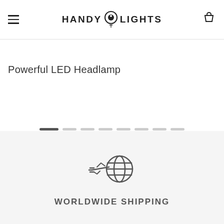HANDY LIGHTS
Powerful LED Headlamp
[Figure (illustration): Carousel pagination dots — one active dark pill and seven lighter inactive pills]
[Figure (illustration): Worldwide shipping icon: airplane flying toward a globe, drawn in dark gray outline style]
WORLDWIDE SHIPPING